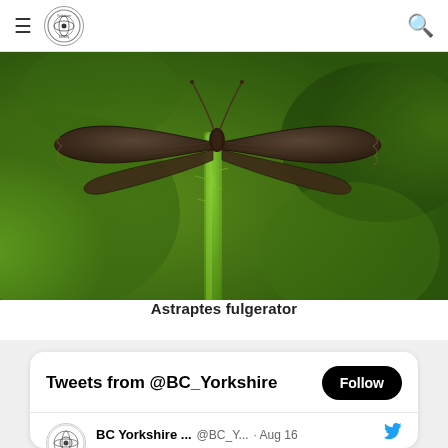Yorkshire Butterfly Conservation Society Limestone (logo) — navigation header with hamburger menu and search icon
[Figure (photo): Close-up macro photograph of a moth (Astraptes fulgerator) hanging upside down from a green plant stem, with bokeh green leaf background. Wings spread, dark brown coloring.]
Astraptes fulgerator
Tweets from @BC_Yorkshire
BC Yorkshire ... @BC_Y... · Aug 16